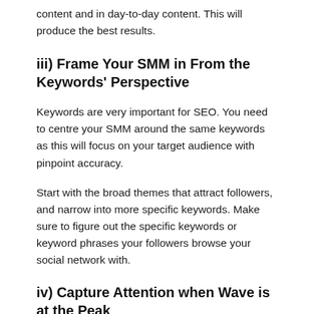content and in day-to-day content. This will produce the best results.
iii) Frame Your SMM in From the Keywords' Perspective
Keywords are very important for SEO. You need to centre your SMM around the same keywords as this will focus on your target audience with pinpoint accuracy.
Start with the broad themes that attract followers, and narrow into more specific keywords. Make sure to figure out the specific keywords or keyword phrases your followers browse your social network with.
iv) Capture Attention when Wave is at the Peak